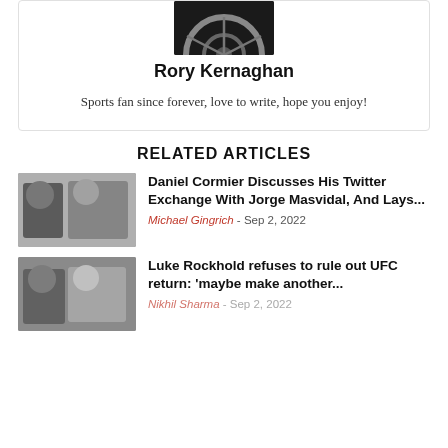[Figure (photo): Partial photo of a car wheel/rim, dark background, shown at top of author card]
Rory Kernaghan
Sports fan since forever, love to write, hope you enjoy!
RELATED ARTICLES
[Figure (photo): Two MMA fighters, one in a suit and one in fighting stance, Daniel Cormier and Jorge Masvidal]
Daniel Cormier Discusses His Twitter Exchange With Jorge Masvidal, And Lays...
Michael Gingrich - Sep 2, 2022
[Figure (photo): Two men, one in fighting gear and one in a suit, UFC related image, Luke Rockhold]
Luke Rockhold refuses to rule out UFC return: 'maybe make another...
Nikhil Sharma - Sep 2, 2022